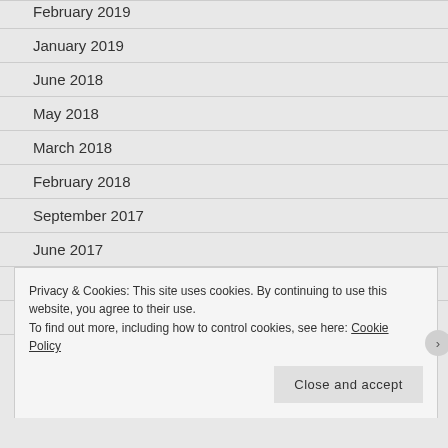February 2019
January 2019
June 2018
May 2018
March 2018
February 2018
September 2017
June 2017
May 2017
April 2017
Privacy & Cookies: This site uses cookies. By continuing to use this website, you agree to their use.
To find out more, including how to control cookies, see here: Cookie Policy
Close and accept